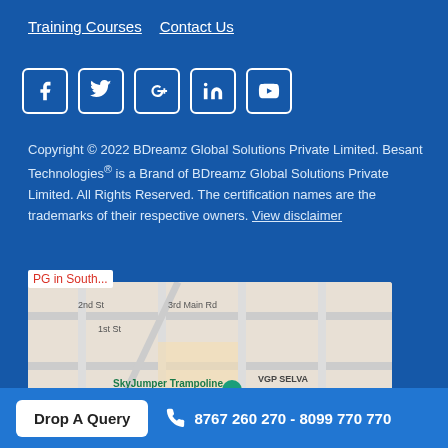Training Courses   Contact Us
[Figure (infographic): Social media icons: Facebook, Twitter, Google+, LinkedIn, YouTube — white icons in bordered boxes on blue background]
Copyright © 2022 BDreamz Global Solutions Private Limited. Besant Technologies® is a Brand of BDreamz Global Solutions Private Limited. All Rights Reserved. The certification names are the trademarks of their respective owners. View disclaimer
[Figure (map): Google Maps screenshot showing area near SkyJumper Trampoline Park Chennai, with streets including 2nd St, 1st St, 3rd Main Rd, 2nd Main Rd, 1st Main Rd, 100 Feet Rd; neighborhoods: VGP SELVA NAGAR / VGP செல்வ நகர், KANIKAPURAM / கணிகபுரம், BHUVANESHWARI NAGAR / புவனேஷ்வரி நகர். Tamil script visible.]
PG in South...
Drop A Query   8767 260 270 - 8099 770 770